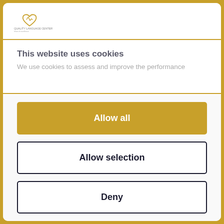[Figure (logo): Website logo in top-left corner of header]
This website uses cookies
We use cookies to assess and improve the performance
Allow all
Allow selection
Deny
Powered by Cookiebot by Usercentrics